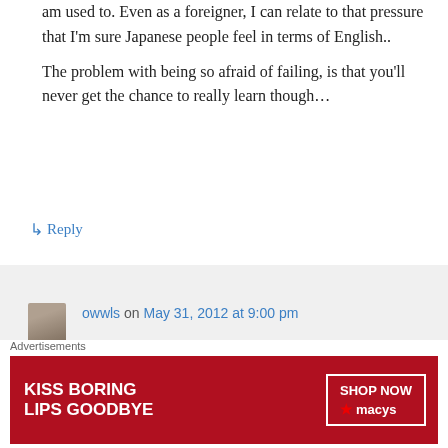am used to. Even as a foreigner, I can relate to that pressure that I'm sure Japanese people feel in terms of English..
The problem with being so afraid of failing, is that you'll never get the chance to really learn though...
↳ Reply
owwls on May 31, 2012 at 9:00 pm
Yup. Learning Japanese in America I did OK, got As, impressed a few classmates. Came to Japan and it was like a huge
Advertisements
[Figure (other): Macy's advertisement banner: 'KISS BORING LIPS GOODBYE' with 'SHOP NOW ★ macys' button on red background with photo of woman]